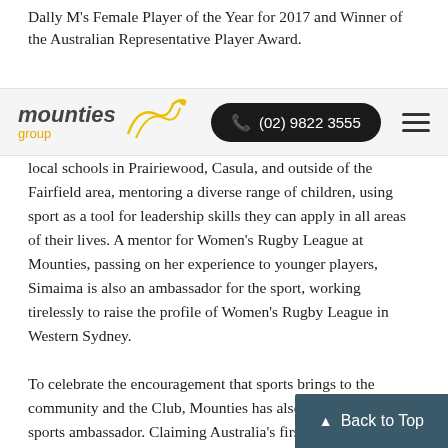Dally M's Female Player of the Year for 2017 and Winner of the Australian Representative Player Award.
[Figure (logo): Mounties Group logo with yellow swoosh graphic and phone number button showing (02) 9822 3555, and hamburger menu icon]
local schools in Prairiewood, Casula, and outside of the Fairfield area, mentoring a diverse range of children, using sport as a tool for leadership skills they can apply in all areas of their lives. A mentor for Women's Rugby League at Mounties, passing on her experience to younger players, Simaima is also an ambassador for the sport, working tirelessly to raise the profile of Women's Rugby League in Western Sydney.
To celebrate the encouragement that sports brings to the community and the Club, Mounties has also signed a new sports ambassador. Claiming Australia's first [medal at] the Rio 2016 Olympic Games in modern pentathlon, Chloe Esposito, will be providing advice and mentorship to young